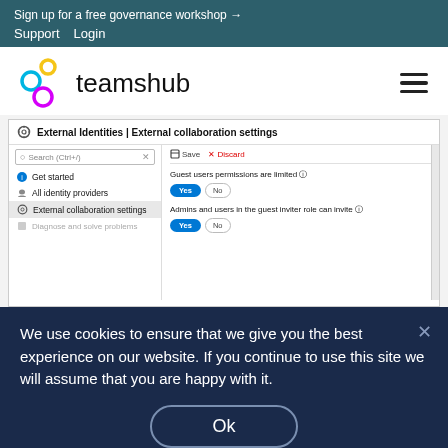Sign up for a free governance workshop →
Support   Login
[Figure (screenshot): Teamshub logo with colorful overlapping circles, hamburger menu icon on right, and a screenshot of Azure External Identities External collaboration settings page showing left nav panel with Get started, All identity providers, External collaboration settings, Diagnose and solve problems, and right panel with Save/Discard toolbar, Guest users permissions are limited toggle (Yes selected), and Admins and users in the guest inviter role can invite toggle (Yes selected)]
We use cookies to ensure that we give you the best experience on our website. If you continue to use this site we will assume that you are happy with it.
Ok